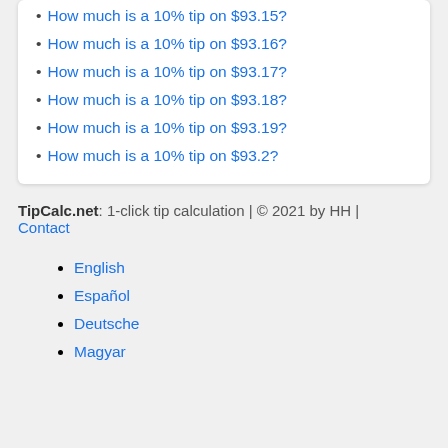How much is a 10% tip on $93.15?
How much is a 10% tip on $93.16?
How much is a 10% tip on $93.17?
How much is a 10% tip on $93.18?
How much is a 10% tip on $93.19?
How much is a 10% tip on $93.2?
TipCalc.net: 1-click tip calculation | © 2021 by HH | Contact
English
Español
Deutsche
Magyar